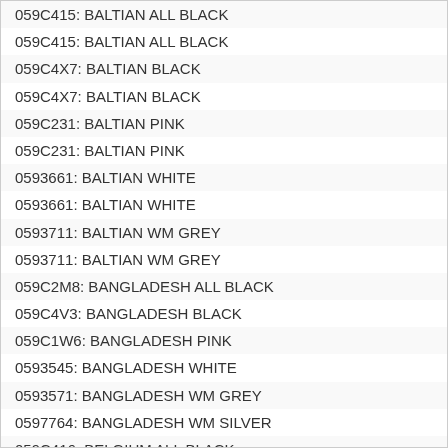059C415: BALTIAN ALL BLACK
059C415: BALTIAN ALL BLACK
059C4X7: BALTIAN BLACK
059C4X7: BALTIAN BLACK
059C231: BALTIAN PINK
059C231: BALTIAN PINK
0593661: BALTIAN WHITE
0593661: BALTIAN WHITE
0593711: BALTIAN WM GREY
0593711: BALTIAN WM GREY
059C2M8: BANGLADESH ALL BLACK
059C4V3: BANGLADESH BLACK
059C1W6: BANGLADESH PINK
0593545: BANGLADESH WHITE
0593571: BANGLADESH WM GREY
0597764: BANGLADESH WM SILVER
059C416: BELGIUM ALL BLACK
059C416: BELGIUM ALL BLACK
059C416: BELGIUM ALL BLACK
059C4X8: BELGIUM BLACK
059C4X8: BELGIUM BLACK
059C229: BELGIUM PINK
059C229: BELGIUM PINK